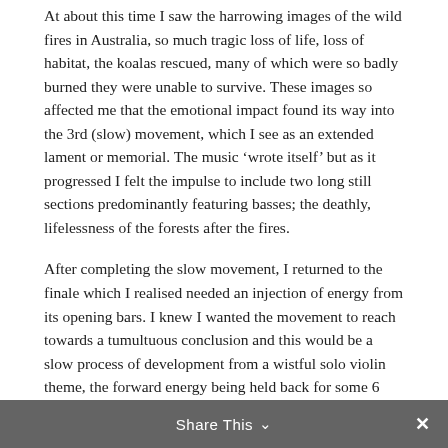At about this time I saw the harrowing images of the wild fires in Australia, so much tragic loss of life, loss of habitat, the koalas rescued, many of which were so badly burned they were unable to survive. These images so affected me that the emotional impact found its way into the 3rd (slow) movement, which I see as an extended lament or memorial. The music 'wrote itself' but as it progressed I felt the impulse to include two long still sections predominantly featuring basses; the deathly, lifelessness of the forests after the fires.
After completing the slow movement, I returned to the finale which I realised needed an injection of energy from its opening bars. I knew I wanted the movement to reach towards a tumultuous conclusion and this would be a slow process of development from a wistful solo violin theme, the forward energy being held back for some 6 minutes, then reaching its way to a point of no return.
Share This ∨  ✕